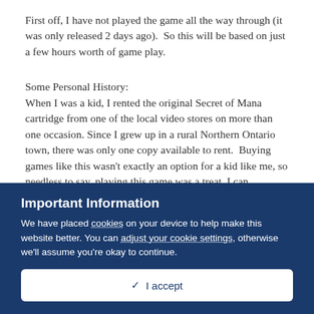First off, I have not played the game all the way through (it was only released 2 days ago).  So this will be based on just a few hours worth of game play.
Some Personal History:
When I was a kid, I rented the original Secret of Mana cartridge from one of the local video stores on more than one occasion. Since I grew up in a rural Northern Ontario town, there was only one copy available to rent.  Buying games like this wasn't exactly an option for a kid like me, so needless to say, playing this game was a treat. I can remember being a 10 year old kid and marvelling at its beautiful musical score. Unfortunately, the circumstances also made it difficult to play it through to
Important Information
We have placed cookies on your device to help make this website better. You can adjust your cookie settings, otherwise we'll assume you're okay to continue.
✓  I accept